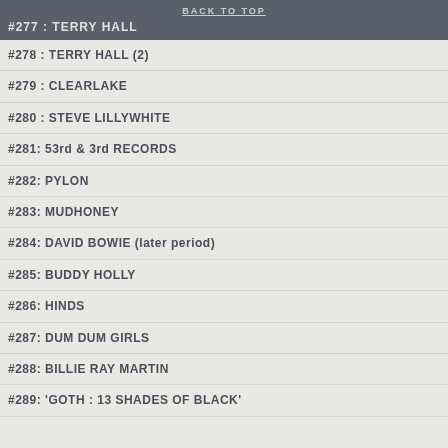BACK TO TOP
#277 : TERRY HALL
#278 : TERRY HALL (2)
#279 : CLEARLAKE
#280 : STEVE LILLYWHITE
#281: 53rd & 3rd RECORDS
#282: PYLON
#283: MUDHONEY
#284: DAVID BOWIE (later period)
#285: BUDDY HOLLY
#286: HINDS
#287: DUM DUM GIRLS
#288: BILLIE RAY MARTIN
#289: 'GOTH : 13 SHADES OF BLACK'